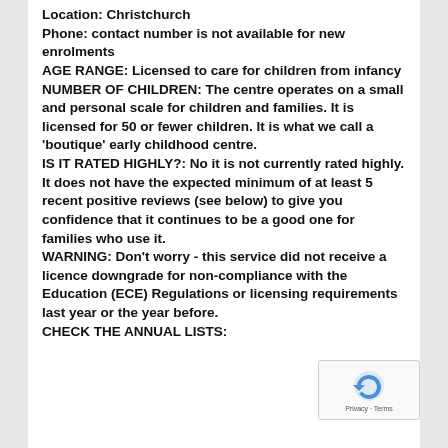Location: Christchurch
Phone: contact number is not available for new enrolments
AGE RANGE: Licensed to care for children from infancy
NUMBER OF CHILDREN: The centre operates on a small and personal scale for children and families. It is licensed for 50 or fewer children. It is what we call a 'boutique' early childhood centre.
IS IT RATED HIGHLY?: No it is not currently rated highly. It does not have the expected minimum of at least 5 recent positive reviews (see below) to give you confidence that it continues to be a good one for families who use it.
WARNING: Don't worry - this service did not receive a licence downgrade for non-compliance with the Education (ECE) Regulations or licensing requirements last year or the year before.
CHECK THE ANNUAL LISTS: